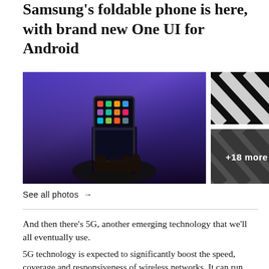Samsung's foldable phone is here, with brand new One UI for Android
[Figure (photo): Left: Hand holding Samsung foldable phone with app icons visible on screen against blue/purple background. Top-right: Black and white diagonal stripe pattern photo (cropped). Bottom-right: Gray diagonal stripe pattern with '+18 more' overlay text.]
See all photos →
And then there's 5G, another emerging technology that we'll all eventually use.
5G technology is expected to significantly boost the speed, coverage and responsiveness of wireless networks. It can run between 10 and 100 times faster than today's typical cellular connection and will be even quicker than service on a physical fiber-optic